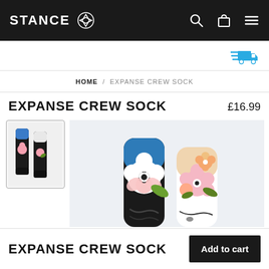STANCE — navigation bar with logo, search, cart, and menu icons
[Figure (screenshot): Delivery/shipping icon in blue at top right of page]
HOME / EXPANSE CREW SOCK
EXPANSE CREW SOCK
£16.99
[Figure (photo): Thumbnail image of Expanse Crew Sock — floral patterned socks with dark background]
[Figure (photo): Main product image showing two Expanse Crew Socks with floral pattern — one with blue cuff and one with white/cream cuff, both featuring flower designs on dark background]
EXPANSE CREW SOCK
Add to cart